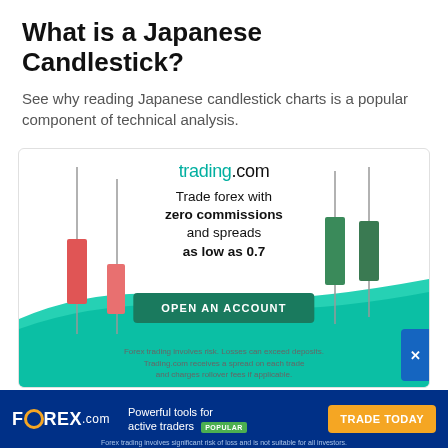What is a Japanese Candlestick?
See why reading Japanese candlestick charts is a popular component of technical analysis.
[Figure (illustration): Trading.com advertisement banner featuring Japanese candlestick chart graphics (two red bearish candles on left, two green bullish candles on right), a green swoosh background element, the trading.com logo, text 'Trade forex with zero commissions and spreads as low as 0.7', an 'OPEN AN ACCOUNT' CTA button, and a risk disclaimer.]
[Figure (illustration): FOREX.com footer advertisement bar with logo, 'Powerful tools for active traders POPULAR' tagline, and 'TRADE TODAY' orange button.]